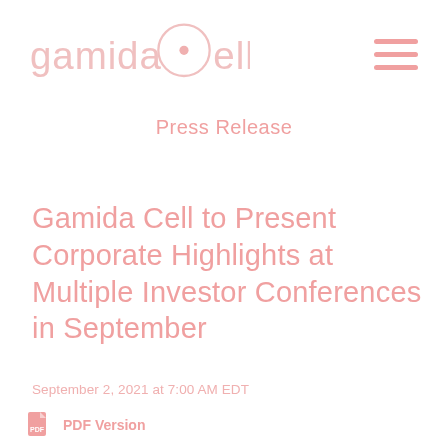gamida cell [logo with circle-C]
Press Release
Gamida Cell to Present Corporate Highlights at Multiple Investor Conferences in September
September 2, 2021 at 7:00 AM EDT
PDF Version